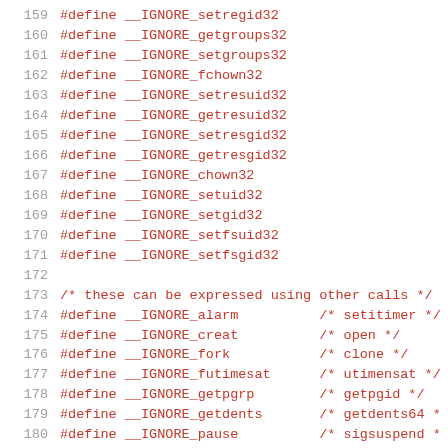159  #define __IGNORE_setregid32
160  #define __IGNORE_getgroups32
161  #define __IGNORE_setgroups32
162  #define __IGNORE_fchown32
163  #define __IGNORE_setresuid32
164  #define __IGNORE_getresuid32
165  #define __IGNORE_setresgid32
166  #define __IGNORE_getresgid32
167  #define __IGNORE_chown32
168  #define __IGNORE_setuid32
169  #define __IGNORE_setgid32
170  #define __IGNORE_setfsuid32
171  #define __IGNORE_setfsgid32
172
173  /* these can be expressed using other calls */
174  #define __IGNORE_alarm        /* setitimer */
175  #define __IGNORE_creat        /* open */
176  #define __IGNORE_fork         /* clone */
177  #define __IGNORE_futimesat    /* utimensat */
178  #define __IGNORE_getpgrp      /* getpgid */
179  #define __IGNORE_getdents     /* getdents64 *
180  #define __IGNORE_pause        /* sigsuspend *